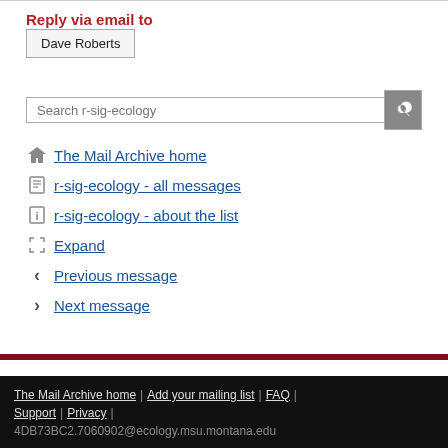Reply via email to
Dave Roberts
Search r-sig-ecology
The Mail Archive home
r-sig-ecology - all messages
r-sig-ecology - about the list
Expand
Previous message
Next message
The Mail Archive home | Add your mailing list | FAQ | Support | Privacy | 4DB73BC2.7060902@ecology.msu.montana.edu